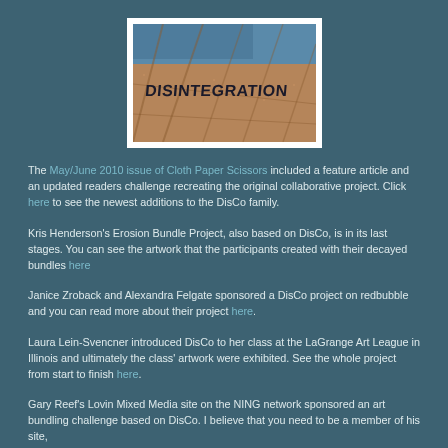[Figure (photo): Photo with text 'DISINTEGRATION' written across a textured surface with blue and sandy tones, framed with a white border]
The May/June 2010 issue of Cloth Paper Scissors included a feature article and an updated readers challenge recreating the original collaborative project. Click here to see the newest additions to the DisCo family.
Kris Henderson's Erosion Bundle Project, also based on DisCo, is in its last stages. You can see the artwork that the participants created with their decayed bundles here
Janice Zroback and Alexandra Felgate sponsored a DisCo project on redbubble and you can read more about their project here.
Laura Lein-Svencner introduced DisCo to her class at the LaGrange Art League in Illinois and ultimately the class' artwork were exhibited. See the whole project from start to finish here.
Gary Reef's Lovin Mixed Media site on the NING network sponsored an art bundling challenge based on DisCo. I believe that you need to be a member of his site,